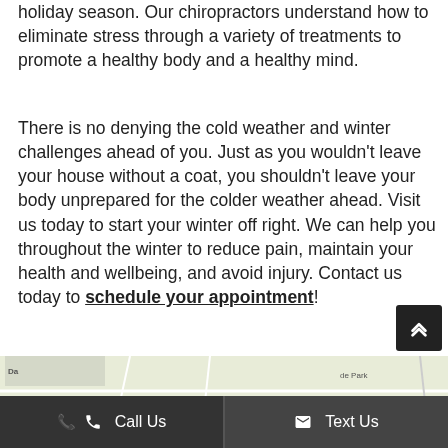holiday season. Our chiropractors understand how to eliminate stress through a variety of treatments to promote a healthy body and a healthy mind.
There is no denying the cold weather and winter challenges ahead of you. Just as you wouldn't leave your house without a coat, you shouldn't leave your body unprepared for the colder weather ahead. Visit us today to start your winter off right. We can help you throughout the winter to reduce pain, maintain your health and wellbeing, and avoid injury. Contact us today to schedule your appointment!
[Figure (map): Partial street map showing NNA WOOD area, Lexus dealer, Elvyra street, Hyde Park, ST HAVEN labels visible]
Call Us | Text Us